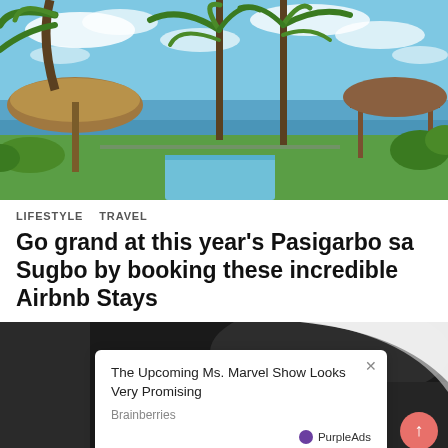[Figure (photo): Tropical beach resort scene with palm trees, thatched hut gazebos, a swimming pool, green lawn, and ocean view under blue sky with clouds]
LIFESTYLE   TRAVEL
Go grand at this year's Pasigarbo sa Sugbo by booking these incredible Airbnb Stays
[Figure (screenshot): Partial view of a second article image (dark background) with an overlay advertisement popup from Brainberries titled 'The Upcoming Ms. Marvel Show Looks Very Promising' with PurpleAds branding and an X close button]